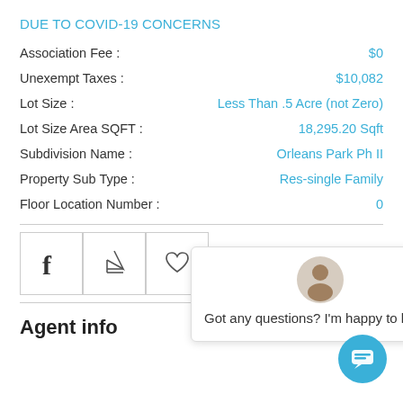DUE TO COVID-19 CONCERNS
| Property | Value |
| --- | --- |
| Association Fee : | $0 |
| Unexempt Taxes : | $10,082 |
| Lot Size : | Less Than .5 Acre (not Zero) |
| Lot Size Area SQFT : | 18,295.20 Sqft |
| Subdivision Name : | Orleans Park Ph II |
| Property Sub Type : | Res-single Family |
| Floor Location Number : | 0 |
[Figure (screenshot): Chat popup with agent avatar saying 'Got any questions? I'm happy to help.']
[Figure (screenshot): Icon bar with Facebook, PDF (Acrobat), and heart/favorite icons in bordered boxes]
Agent info
[Figure (screenshot): Teal circular chat button at bottom right corner]